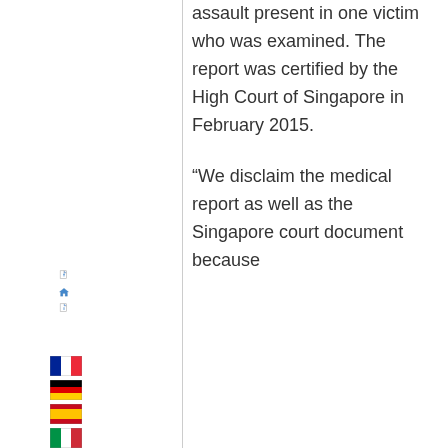assault present in one victim who was examined. The report was certified by the High Court of Singapore in February 2015.
“We disclaim the medical report as well as the Singapore court document because